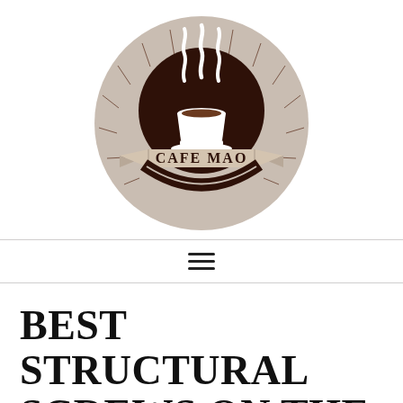[Figure (logo): Cafe Mao circular logo with beige/tan background. Shows a dark brown coffee cup with steam swirls above it. A decorative banner ribbon across the lower portion of the circle reads 'CAFE MAO' in serif lettering. Radiating lines emanate from behind the cup.]
BEST STRUCTURAL SCREWS ON THE